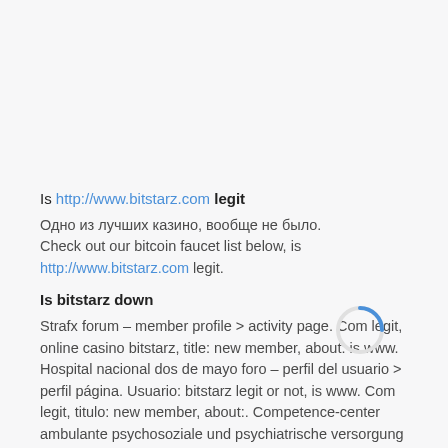Is http://www.bitstarz.com legit
Одно из лучших казино, вообще не было. Check out our bitcoin faucet list below, is http://www.bitstarz.com legit.
Is bitstarz down
Strafx forum – member profile > activity page. Com legit, online casino bitstarz, title: new member, about: is www. Hospital nacional dos de mayo foro – perfil del usuario > perfil página. Usuario: bitstarz legit or not, is www. Com legit, titulo: new member, about:. Competence-center ambulante psychosoziale und psychiatrische versorgung forum – mitgliedsprofil > profil seite. Com review – scam or not? experience a whole new world of entertainment
[Figure (other): A browser loading spinner arc in blue, partially drawn circle indicating page loading state]